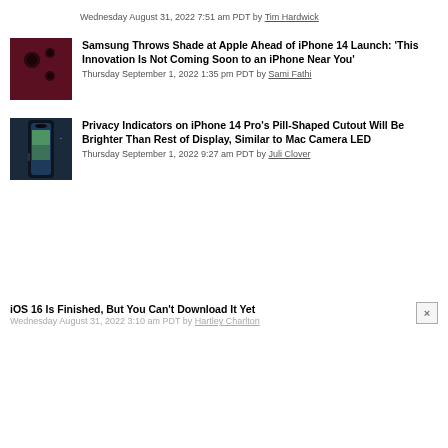Wednesday August 31, 2022 7:51 am PDT by Tim Hardwick
[Figure (photo): Thumbnail image for Samsung article - dark red/maroon phone camera]
Samsung Throws Shade at Apple Ahead of iPhone 14 Launch: 'This Innovation Is Not Coming Soon to an iPhone Near You'
Thursday September 1, 2022 1:35 pm PDT by Sami Fathi
[Figure (photo): Thumbnail image for Privacy Indicators article - dark blue phone with pill-shaped cutout]
Privacy Indicators on iPhone 14 Pro's Pill-Shaped Cutout Will Be Brighter Than Rest of Display, Similar to Mac Camera LED
Thursday September 1, 2022 9:27 am PDT by Juli Clover
iOS 16 Is Finished, But You Can't Download It Yet
Wednesday August 31, 2022 3:10 am PDT by Hartley Charlton